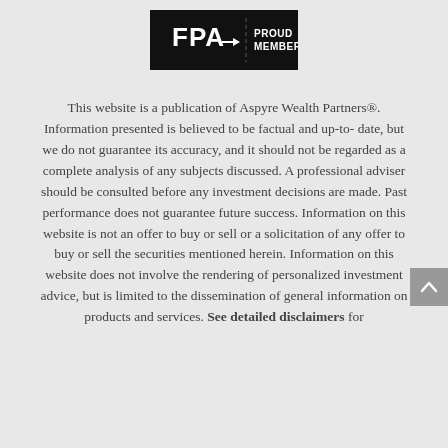[Figure (logo): FPA Proud Member logo — black rectangle with white 'FPA' text and a vertical dashed divider, then 'PROUD MEMBER' in white text on the right]
This website is a publication of Aspyre Wealth Partners®. Information presented is believed to be factual and up-to-date, but we do not guarantee its accuracy, and it should not be regarded as a complete analysis of any subjects discussed. A professional adviser should be consulted before any investment decisions are made. Past performance does not guarantee future success. Information on this website is not an offer to buy or sell or a solicitation of any offer to buy or sell the securities mentioned herein. Information on this website does not involve the rendering of personalized investment advice, but is limited to the dissemination of general information on products and services. See detailed disclaimers for